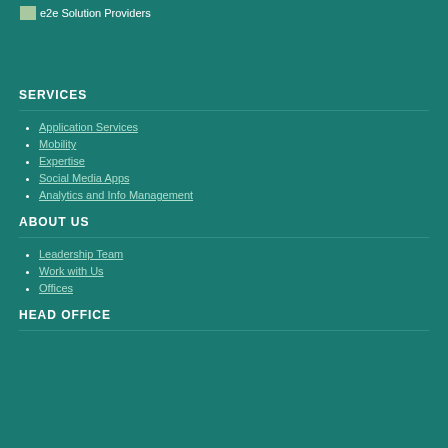e2e Solution Providers
SERVICES
Application Services
Mobility
Expertise
Social Media Apps
Analytics and Info Management
ABOUT US
Leadership Team
Work with Us
Offices
HEAD OFFICE